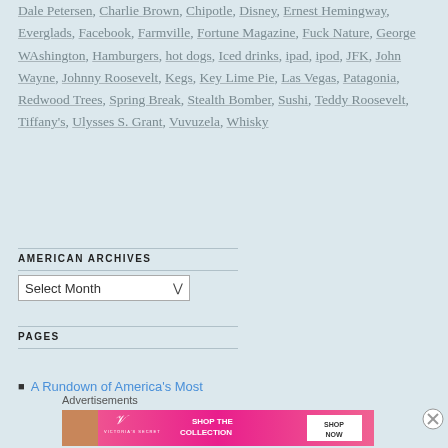Dale Petersen, Charlie Brown, Chipotle, Disney, Ernest Hemingway, Everglads, Facebook, Farmville, Fortune Magazine, Fuck Nature, George WAshington, Hamburgers, hot dogs, Iced drinks, ipad, ipod, JFK, John Wayne, Johnny Roosevelt, Kegs, Key Lime Pie, Las Vegas, Patagonia, Redwood Trees, Spring Break, Stealth Bomber, Sushi, Teddy Roosevelt, Tiffany's, Ulysses S. Grant, Vuvuzela, Whisky
AMERICAN ARCHIVES
Select Month
PAGES
A Rundown of America's Most
Advertisements
[Figure (photo): Victoria's Secret advertisement banner with model, logo, 'SHOP THE COLLECTION' text and 'SHOP NOW' button]